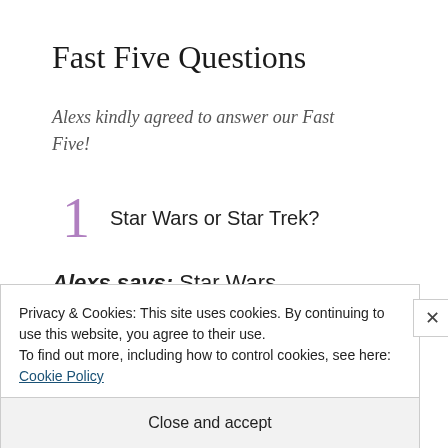Fast Five Questions
Alexs kindly agreed to answer our Fast Five!
1  Star Wars or Star Trek?
Alexs says: Star Wars
Privacy & Cookies: This site uses cookies. By continuing to use this website, you agree to their use.
To find out more, including how to control cookies, see here: Cookie Policy
Close and accept